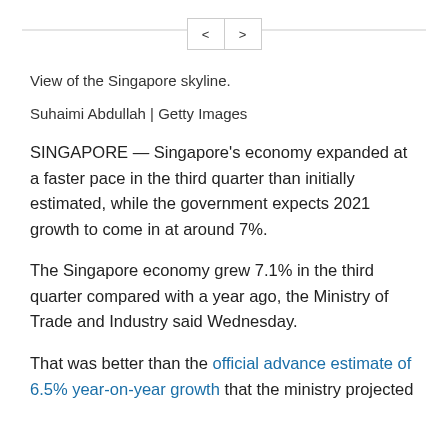< >
View of the Singapore skyline.
Suhaimi Abdullah | Getty Images
SINGAPORE — Singapore's economy expanded at a faster pace in the third quarter than initially estimated, while the government expects 2021 growth to come in at around 7%.
The Singapore economy grew 7.1% in the third quarter compared with a year ago, the Ministry of Trade and Industry said Wednesday.
That was better than the official advance estimate of 6.5% year-on-year growth that the ministry projected